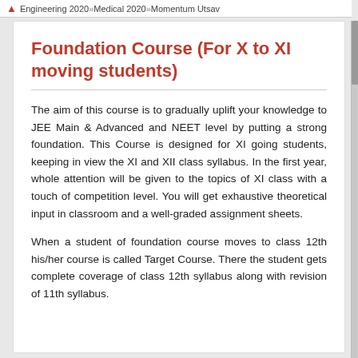Engineering 2020 » Medical 2020 » Momentum Utsav
Foundation Course (For X to XI moving students)
The aim of this course is to gradually uplift your knowledge to JEE Main & Advanced and NEET level by putting a strong foundation. This Course is designed for XI going students, keeping in view the XI and XII class syllabus. In the first year, whole attention will be given to the topics of XI class with a touch of competition level. You will get exhaustive theoretical input in classroom and a well-graded assignment sheets.
When a student of foundation course moves to class 12th his/her course is called Target Course. There the student gets complete coverage of class 12th syllabus along with revision of 11th syllabus.